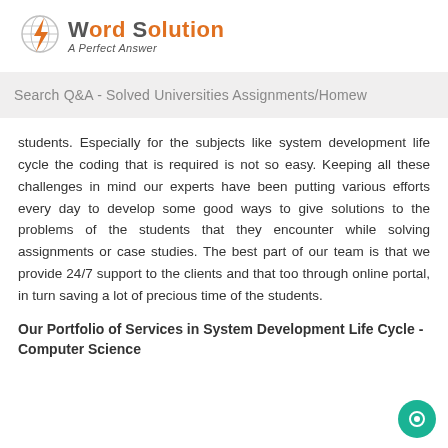[Figure (logo): My Word Solution logo with orange lightning bolt/globe icon and tagline 'A Perfect Answer']
Search Q&A - Solved Universities Assignments/Homew
students. Especially for the subjects like system development life cycle the coding that is required is not so easy. Keeping all these challenges in mind our experts have been putting various efforts every day to develop some good ways to give solutions to the problems of the students that they encounter while solving assignments or case studies. The best part of our team is that we provide 24/7 support to the clients and that too through online portal, in turn saving a lot of precious time of the students.
Our Portfolio of Services in System Development Life Cycle - Computer Science